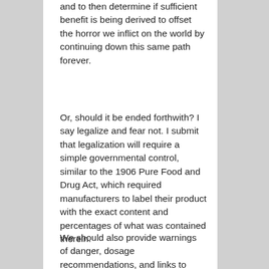and to then determine if sufficient benefit is being derived to offset the horror we inflict on the world by continuing down this same path forever.
Or, should it be ended forthwith? I say legalize and fear not. I submit that legalization will require a simple governmental control, similar to the 1906 Pure Food and Drug Act, which required manufacturers to label their product with the exact content and percentages of what was contained therein.
We should also provide warnings of danger, dosage recommendations, and links to medical help and